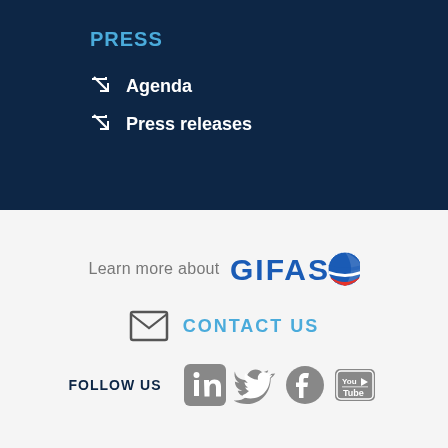PRESS
Agenda
Press releases
Learn more about GIFAS
CONTACT US
FOLLOW US